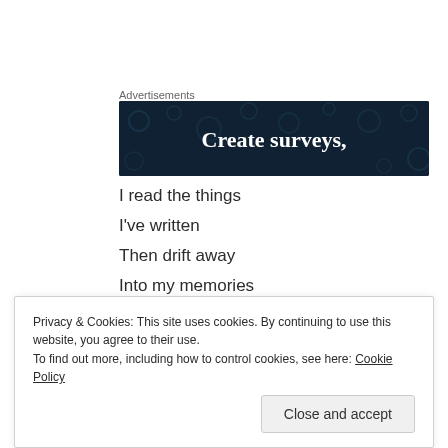Advertisements
[Figure (illustration): Dark navy blue advertisement banner with white bold serif text reading 'Create surveys,' and decorative dot pattern in background]
I read the things
I've written
Then drift away
Into my memories
And I'm either
Torn and broken
Privacy & Cookies: This site uses cookies. By continuing to use this website, you agree to their use.
To find out more, including how to control cookies, see here: Cookie Policy
Close and accept